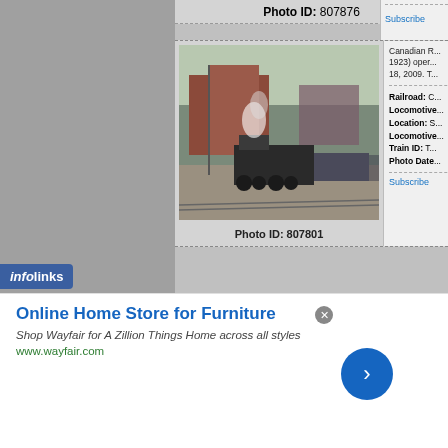Photo ID: 807876
Subscribe
[Figure (photo): Steam locomotive at a brick industrial building station with smoke, pulling passenger cars along tracks]
Photo ID: 807801
Canadian R... 1923) oper... 18, 2009. T...
Railroad: C... Locomotive... Location: S... Locomotive... Train ID: T... Photo Date...
Subscribe
[Figure (photo): Interior of a dark locomotive roundhouse or repair facility with steam locomotive and atmospheric lighting]
In a scene c... while CP 1... This scene...
Railroad: C... Locomotive... Location: S... Locomotive...
[Figure (logo): Infolinks logo in blue bar]
Online Home Store for Furniture
Shop Wayfair for A Zillion Things Home across all styles
www.wayfair.com